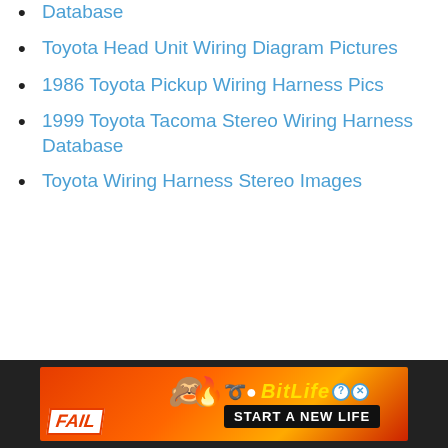Database
Toyota Head Unit Wiring Diagram Pictures
1986 Toyota Pickup Wiring Harness Pics
1999 Toyota Tacoma Stereo Wiring Harness Database
Toyota Wiring Harness Stereo Images
[Figure (other): Advertisement banner for BitLife game — 'START A NEW LIFE' with FAIL text and animated characters on red/orange background]